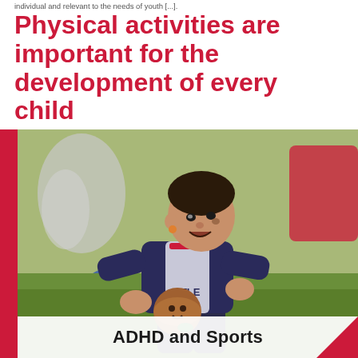individual and relevant to the needs of youth [...].
Physical activities are important for the development of every child
[Figure (photo): A young toddler boy running on a grass field holding a colorful ball, wearing a navy blue long-sleeve shirt and dark pants, mouth open with excitement. Blurred background with people and red objects visible. A vertical red bar runs along the left edge of the photo.]
ADHD and Sports